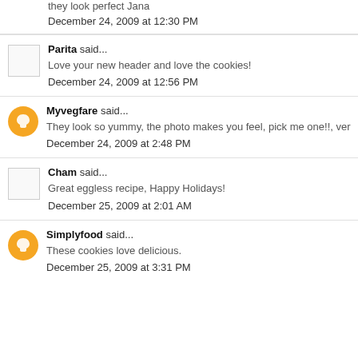they look perfect Jana
December 24, 2009 at 12:30 PM
Parita said...
Love your new header and love the cookies!
December 24, 2009 at 12:56 PM
Myvegfare said...
They look so yummy, the photo makes you feel, pick me one!!, ver
December 24, 2009 at 2:48 PM
Cham said...
Great eggless recipe, Happy Holidays!
December 25, 2009 at 2:01 AM
Simplyfood said...
These cookies love delicious.
December 25, 2009 at 3:31 PM